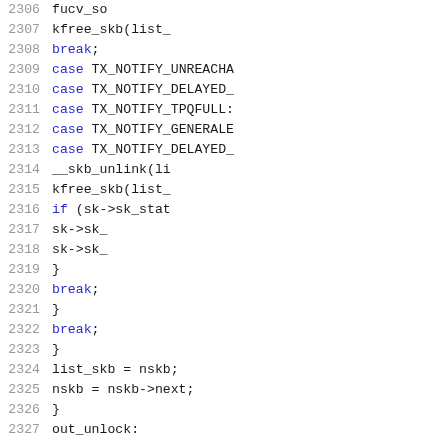[Figure (screenshot): Source code listing showing C kernel code lines 2306-2327, with line numbers on the left and syntax-highlighted code on the right. Keywords like 'case' and 'break' are in blue, function names and identifiers in black/dark.]